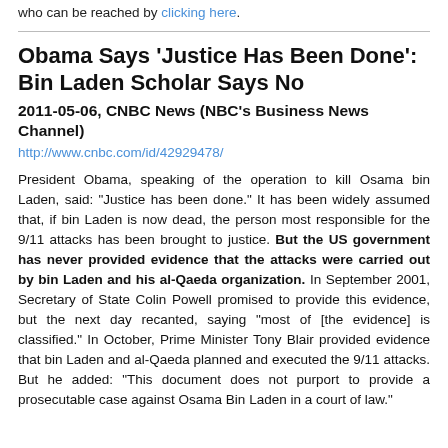who can be reached by clicking here.
Obama Says 'Justice Has Been Done': Bin Laden Scholar Says No
2011-05-06, CNBC News (NBC's Business News Channel)
http://www.cnbc.com/id/42929478/
President Obama, speaking of the operation to kill Osama bin Laden, said: "Justice has been done." It has been widely assumed that, if bin Laden is now dead, the person most responsible for the 9/11 attacks has been brought to justice. But the US government has never provided evidence that the attacks were carried out by bin Laden and his al-Qaeda organization. In September 2001, Secretary of State Colin Powell promised to provide this evidence, but the next day recanted, saying "most of [the evidence] is classified." In October, Prime Minister Tony Blair provided evidence that bin Laden and al-Qaeda planned and executed the 9/11 attacks. But he added: "This document does not purport to provide a prosecutable case against Osama Bin Laden in a court of law."